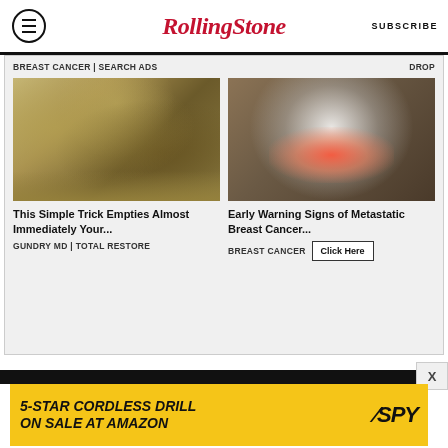RollingStone — SUBSCRIBE
[Figure (other): Advertisement block containing two sponsored content cards. Left card: food/health trick image with title 'This Simple Trick Empties Almost Immediately Your...' by GUNDRY MD | TOTAL RESTORE. Right card: woman with chest pain image with title 'Early Warning Signs of Metastatic Breast Cancer...' by BREAST CANCER with a 'Click Here' button. Labels at top: 'BREAST CANCER | SEARCH ADS' and 'DROP'.]
[Figure (other): Bottom advertisement banner: '5-STAR CORDLESS DRILL ON SALE AT AMAZON' with SPY logo on yellow background.]